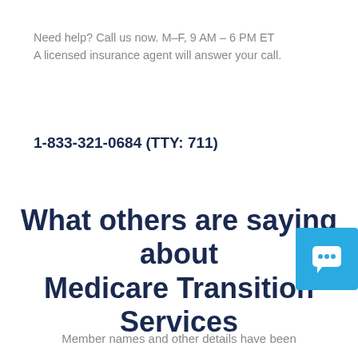Need help? Call us now. M–F, 9 AM – 6 PM ET
A licensed insurance agent will answer your call.
1-833-321-0684 (TTY: 711)
What others are saying about Medicare Transition Services
Member names and other details have been